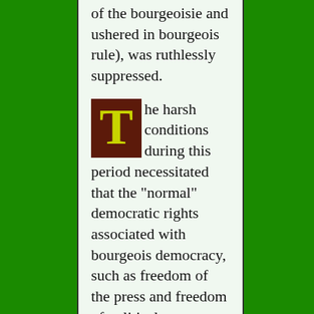of the bourgeoisie and ushered in bourgeois rule), was ruthlessly suppressed.
The harsh conditions during this period necessitated that the "normal" democratic rights associated with bourgeois democracy, such as freedom of the press and freedom of political association, were suspended for the entire population and even for members of Lenin's own bolshevik party. Any election during this period would have proven that the popular support the bolsheviks had initially enjoyed had long since